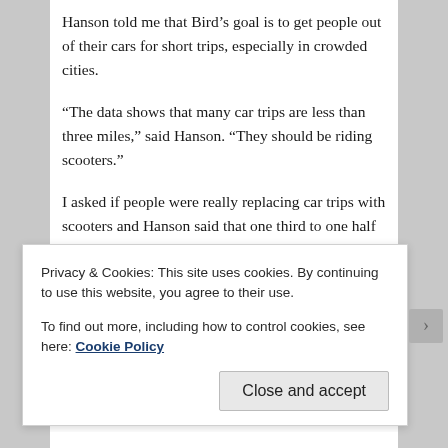Hanson told me that Bird's goal is to get people out of their cars for short trips, especially in crowded cities.
“The data shows that many car trips are less than three miles,” said Hanson. “They should be riding scooters.”
I asked if people were really replacing car trips with scooters and Hanson said that one third to one half of e-scooter trips were replacing personal car trips—and much of the rest was in place of using ridesharing services, such as Uber and Lyft—which are not environmentally positive if they’re internal combustion engines—and contribute to traffic congestion.
Privacy & Cookies: This site uses cookies. By continuing to use this website, you agree to their use. To find out more, including how to control cookies, see here: Cookie Policy